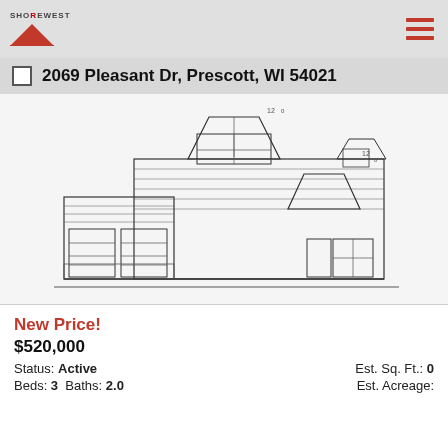Shorewest
2069 Pleasant Dr, Prescott, WI 54021
[Figure (illustration): Architectural front elevation drawing of a craftsman-style single-family home with a two-car garage, gabled dormers, board-and-batten siding, and a covered entry porch.]
New Price!
$520,000
Status: Active   Est. Sq. Ft.: 0
Beds: 3  Baths: 2.0   Est. Acreage: